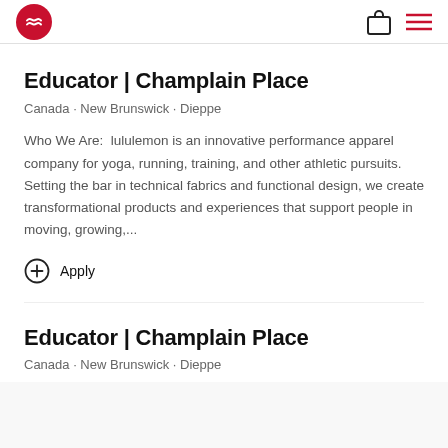lululemon logo, bag icon, menu icon
Educator | Champlain Place
Canada · New Brunswick · Dieppe
Who We Are:  lululemon is an innovative performance apparel company for yoga, running, training, and other athletic pursuits. Setting the bar in technical fabrics and functional design, we create transformational products and experiences that support people in moving, growing,...
⊕  Apply
Educator | Champlain Place
Canada · New Brunswick · Dieppe